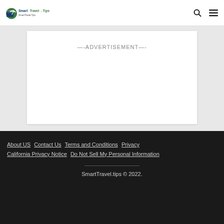SmartTravel.Tips
[Figure (other): Advertisement placeholder box with text '--ADVERTISEMENT--']
About US  Contact Us  Terms and Conditions  Privacy  California Privacy Notice  Do Not Sell My Personal Information

SmartTravel.tips © 2022.